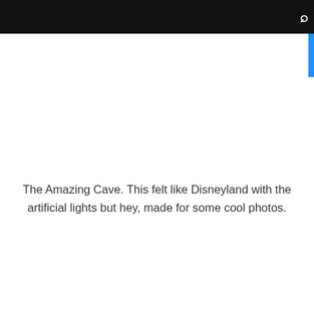The Amazing Cave. This felt like Disneyland with the artificial lights but hey, made for some cool photos.